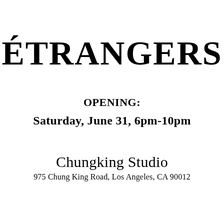ÉTRANGERS
OPENING:
Saturday, June 31, 6pm-10pm
Chungking Studio
975 Chung King Road, Los Angeles, CA 90012